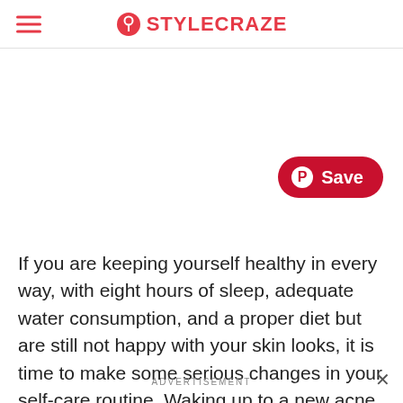STYLECRAZE
[Figure (logo): Pinterest Save button (red rounded pill with Pinterest icon and 'Save' text)]
If you are keeping yourself healthy in every way, with eight hours of sleep, adequate water consumption, and a proper diet but are still not happy with your skin looks, it is time to make some serious changes in your self-care routine. Waking up to a new acne breakout or dehydrated hair will
ADVERTISEMENT